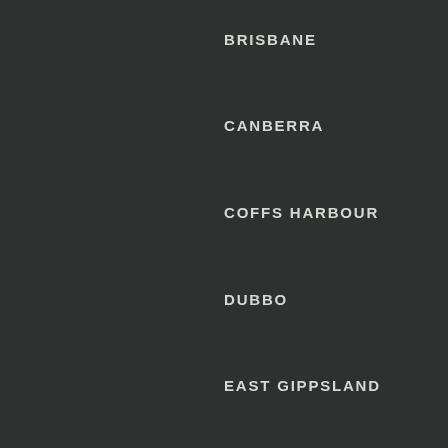BRISBANE
CANBERRA
COFFS HARBOUR
DUBBO
EAST GIPPSLAND
GOLD COAST
GOSFORD
HOBART
ILLAWARRA
LAUNCESTON
MACKAY